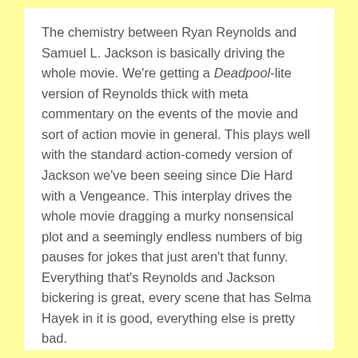The chemistry between Ryan Reynolds and Samuel L. Jackson is basically driving the whole movie.  We're getting a Deadpool-lite version of Reynolds thick with meta commentary on the events of the movie and sort of action movie in general.  This plays well with the standard action-comedy version of Jackson we've been seeing since Die Hard with a Vengeance.  This interplay drives the whole movie dragging a murky nonsensical plot and a seemingly endless numbers of big pauses for jokes that just aren't that funny.  Everything that's Reynolds and Jackson bickering is great, every scene that has Selma Hayek in it is good, everything else is pretty bad.
The action in the movie is good enough, but it feels more like a greatest hits compilation than any kind of new composition.  The best sequence in the film is one where Jackson is walking through a Dutch square